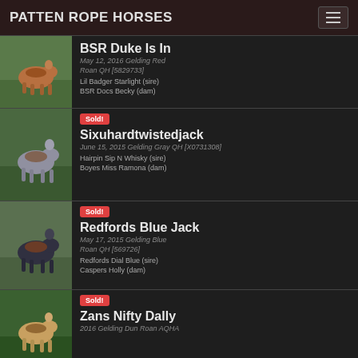PATTEN ROPE HORSES
BSR Duke Is In
May 12, 2016 Gelding Red Roan QH [5829733]
Lil Badger Starlight (sire)
BSR Docs Becky (dam)
Sold!
Sixuhardtwistedjack
June 15, 2015 Gelding Gray QH [X0731308]
Hairpin Sip N Whisky (sire)
Boyes Miss Ramona (dam)
Sold!
Redfords Blue Jack
May 17, 2015 Gelding Blue Roan QH [569726]
Redfords Dial Blue (sire)
Caspers Holly (dam)
Sold!
Zans Nifty Dally
2016 Gelding Dun Roan AQHA